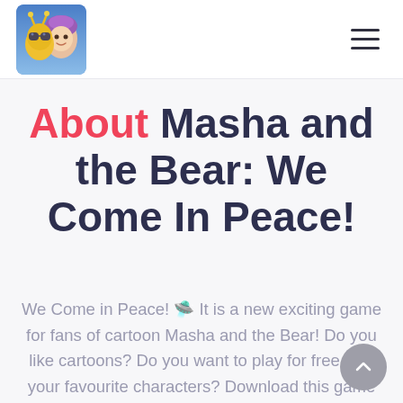[Figure (logo): Masha and the Bear cartoon characters logo — a yellow alien and Masha (girl in purple headscarf)]
About Masha and the Bear: We Come In Peace!
We Come in Peace! 🛸 It is a new exciting game for fans of cartoon Masha and the Bear! Do you like cartoons? Do you want to play for free with your favourite characters? Download this game and become the main hero of this exciting story! Funny aliens, interesting mini games, exciting adventures and other